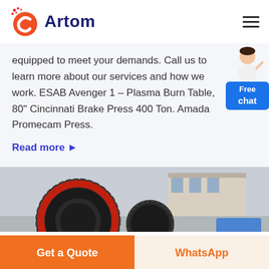[Figure (logo): Artom company logo with red C letter icon and dark blue Artom text]
equipped to meet your demands. Call us to learn more about our services and how we work. ESAB Avenger 1 - Plasma Burn Table, 80" Cincinnati Brake Press 400 Ton. Amada Promecam Press.
Read more ▶
[Figure (photo): Industrial machinery photo showing large gear/cog mechanism with red and dark metal parts, factory building visible in background]
Get a Quote
WhatsApp